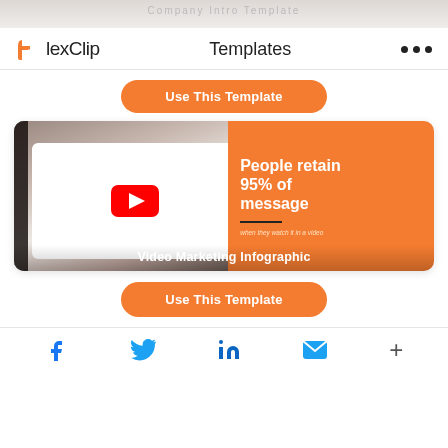FlexClip   Templates   ...
Use This Template
[Figure (infographic): Video Marketing Infographic template card: left half shows a phone with YouTube play button icon, right half is orange with bold white text 'People retain 95% of message' and smaller italic text 'when they watch it in a video'. Card label reads 'Video Marketing Infographic'.]
Use This Template